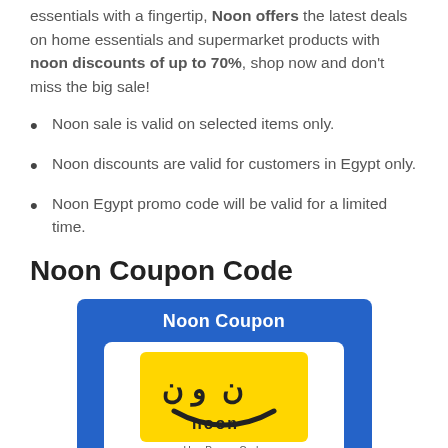essentials with a fingertip, Noon offers the latest deals on home essentials and supermarket products with noon discounts of up to 70%, shop now and don't miss the big sale!
Noon sale is valid on selected items only.
Noon discounts are valid for customers in Egypt only.
Noon Egypt promo code will be valid for a limited time.
Noon Coupon Code
[Figure (illustration): Noon Coupon promotional image with blue background showing 'Noon Coupon' header text in white, and a white inner box containing the Noon logo (yellow background with Arabic noon symbol and 'noon' text in dark)]